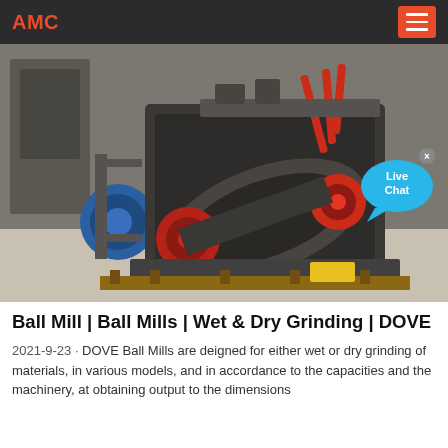AMC
[Figure (photo): Industrial ball mill machine photographed in a factory/workshop setting. The machine is large, dark grey/black colored with red accent parts including red pulleys/wheels and red handles. A blue electric motor is visible on the left side. The machine sits on a wooden pallet on a concrete floor. A 'Live Chat' speech bubble UI element is overlaid in the upper-right area of the image.]
Ball Mill | Ball Mills | Wet & Dry Grinding | DOVE
2021-9-23 · DOVE Ball Mills are deigned for either wet or dry grinding of materials, in various models, and in accordance to the capacities and the machinery, at obtaining output to the dimensions